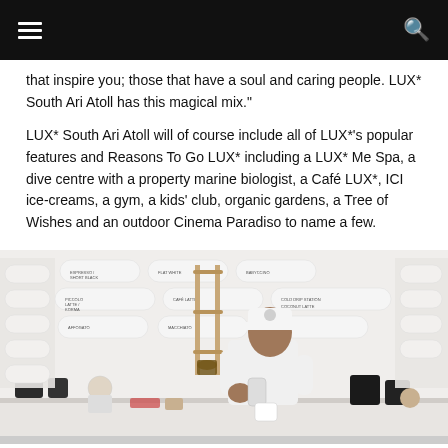that inspire you; those that have a soul and caring people. LUX* South Ari Atoll has this magical mix."
LUX* South Ari Atoll will of course include all of LUX*'s popular features and Reasons To Go LUX* including a LUX* Me Spa, a dive centre with a property marine biologist, a Café LUX*, ICI ice-creams, a gym, a kids' club, organic gardens, a Tree of Wishes and an outdoor Cinema Paradiso to name a few.
[Figure (photo): A barista in a white cap and shirt pouring a drink at a bright white cafe counter, with a menu board visible in the background.]